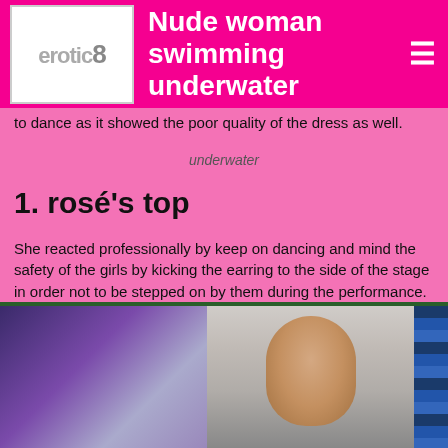erotic8 — Nude woman swimming underwater
to dance as it showed the poor quality of the dress as well.
1. rosé's top
She reacted professionally by keep on dancing and mind the safety of the girls by kicking the earring to the side of the stage in order not to be stepped on by them during the performance. Most Popular. She was still sparkling with her simple clothing and best performance that night. October 12, October 10, October 9, October 6, October 3, Load More.
[Figure (photo): Two-panel image strip at bottom: left panel shows a purple/blue stage performance scene; middle panel shows a woman with dark hair against a light background; right edge shows a blue-striped pattern.]